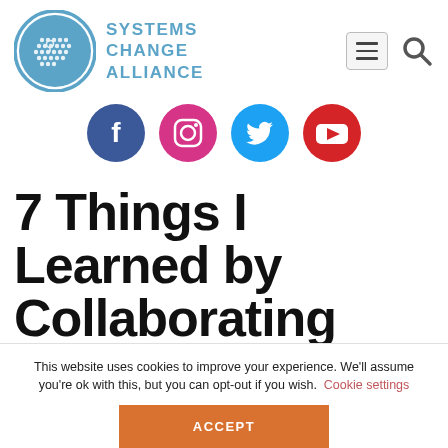[Figure (logo): Systems Change Alliance logo: globe made of hexagonal dots inside a blue circle, with 'SYSTEMS CHANGE ALLIANCE' text in blue to the right]
[Figure (infographic): Row of four social media icons: Facebook (dark blue circle), Instagram (pink/red circle), Twitter (light blue circle), YouTube (red circle)]
7 Things I Learned by Collaborating with Indigenous Wisdom
This website uses cookies to improve your experience. We'll assume you're ok with this, but you can opt-out if you wish. Cookie settings ACCEPT